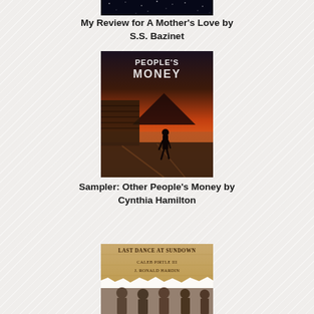[Figure (illustration): Bottom edge of a dark blue/black book cover (partially cropped at top of page)]
My Review for A Mother's Love by S.S. Bazinet
[Figure (illustration): Book cover for 'Other People's Money' by Cynthia Hamilton showing a silhouette of a woman walking along a pier/boardwalk at sunset with orange sky and mountain in background. Title text 'PEOPLE'S MONEY' in white at top.]
Sampler: Other People's Money by Cynthia Hamilton
[Figure (illustration): Book cover for 'Last Dance at Sundown' by Caleb Pirtle III and J. Ronald Hardin, showing an aged parchment-style background with author names and a torn paper effect revealing old photographs of people at the bottom.]